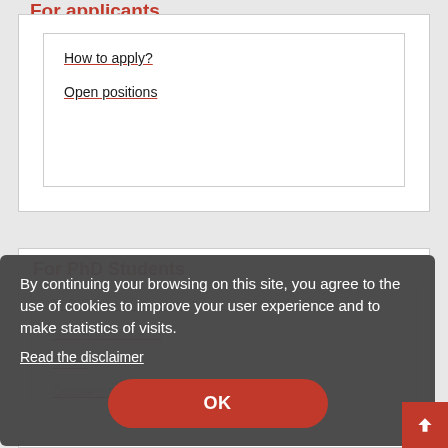For applicants
How to apply?
Open positions
For PhD Students
PhD Course evaluation
New PhD Students
Bonus
Course information
By continuing your browsing on this site, you agree to the use of cookies to improve your user experience and to make statistics of visits.
Read the disclaimer
OK